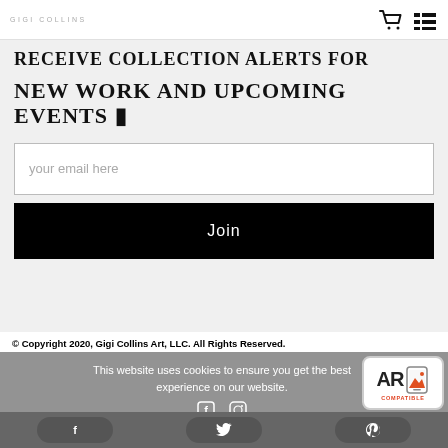GIGI COLLINS
NEW WORK AND UPCOMING EVENTS 🐦
your email here
Join
© Copyright 2020, Gigi Collins Art, LLC. All Rights Reserved.
This website uses cookies to ensure you get the best experience on our website.
Got it!